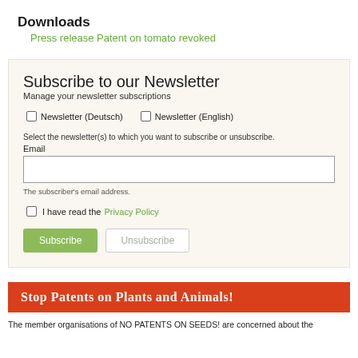Downloads
Press release Patent on tomato revoked
Subscribe to our Newsletter
Manage your newsletter subscriptions
Newsletter (Deutsch)   Newsletter (English)
Select the newsletter(s) to which you want to subscribe or unsubscribe.
Email
The subscriber's email address.
I have read the Privacy Policy
Subscribe   Unsubscribe
Stop Patents on Plants and Animals!
The member organisations of NO PATENTS ON SEEDS! are concerned about the